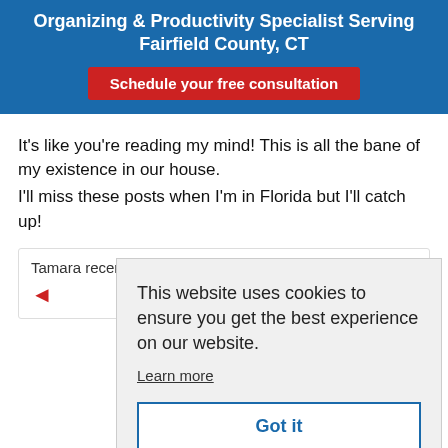Organizing & Productivity Specialist Serving Fairfield County, CT
Schedule your free consultation
It's like you're reading my mind! This is all the bane of my existence in our house.
I'll miss these posts when I'm in Florida but I'll catch up!
Tamara recently posted…Spark the Spark in Winter.
This website uses cookies to ensure you get the best experience on our website. Learn more
Got it